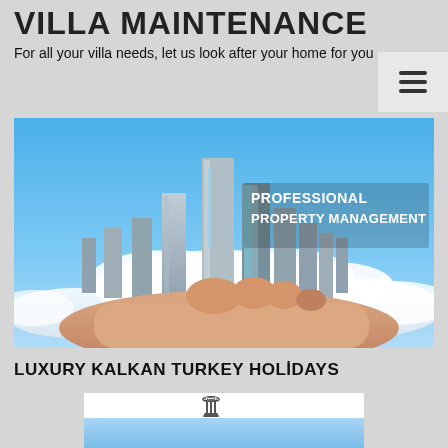VILLA MAINTENANCE
For all your villa needs, let us look after your home for you
[Figure (photo): Hand holding a city skyline with tall glass skyscrapers emerging from clouds, with text overlay 'PROFESSIONAL PROPERTY MANAGEMENT' on blue sky background]
LUXURY KALKAN TURKEY HOLİDAYS
[Figure (logo): Lycia Collections logo with Greek column icon above the text 'Lycia Collections' in orange/gold and tagline 'Exclusive Holiday in The Heart of Lycia' in grey italic]